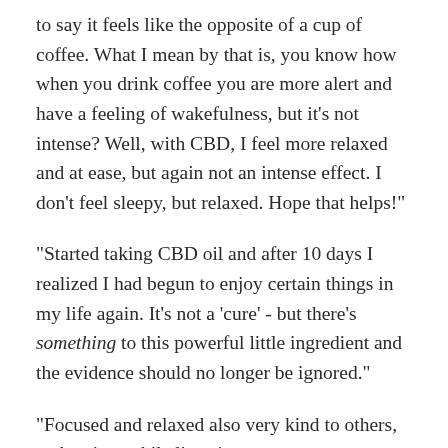to say it feels like the opposite of a cup of coffee. What I mean by that is, you know how when you drink coffee you are more alert and have a feeling of wakefulness, but it's not intense? Well, with CBD, I feel more relaxed and at ease, but again not an intense effect. I don't feel sleepy, but relaxed. Hope that helps!"
"Started taking CBD oil and after 10 days I realized I had begun to enjoy certain things in my life again. It's not a 'cure' - but there's something to this powerful little ingredient and the evidence should no longer be ignored."
"Focused and relaxed also very kind to others, and patient while listening to